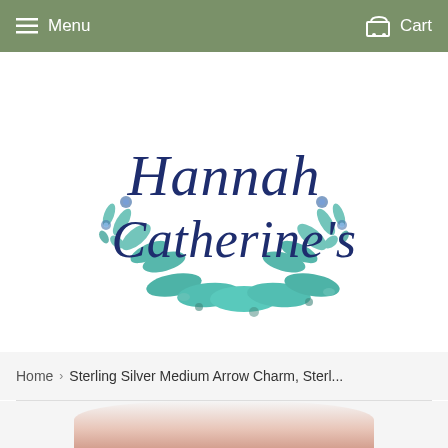Menu  Cart
[Figure (logo): Hannah Catherine's script logo with watercolor floral wreath border in teal and blue]
Home  ›  Sterling Silver Medium Arrow Charm, Sterl...
[Figure (photo): Partial photo of a hand/finger holding a small sterling silver arrow charm]